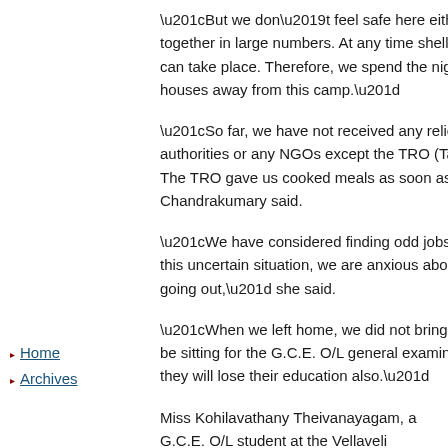“But we don’t feel safe here either. We are vulnerable being together in large numbers. At any time shells can take place. Therefore, we spend the nights in houses away from this camp.”
“So far, we have not received any relief either from the authorities or any NGOs except the TRO (Tamil Rehabilitation Organisation). The TRO gave us cooked meals as soon as we arrived,” Mrs. Chandrakumary said.
“We have considered finding odd jobs around here, but in this uncertain situation, we are anxious about going out,” she said.
“When we left home, we did not bring any books. My children will be sitting for the G.C.E. O/L general examination this year. I fear they will lose their education also.”
Miss Kohilavathany Theivanayagam, a G.C.E. O/L student at the Vellaveli Kalaimahal Vidyalayam echoed Mrs. Chandrakumary’s fears.
“The shells which landed in our village badly damaged our school. When we fled, I
Home
Archives